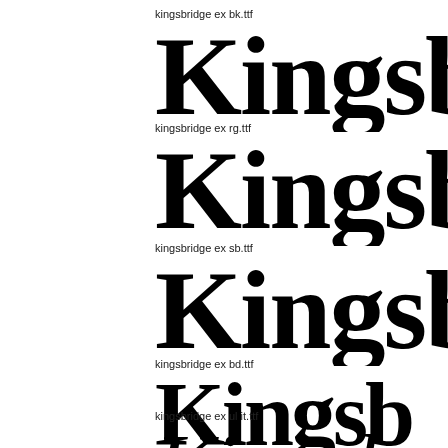kingsbridge ex bk.ttf
Kingsb
kingsbridge ex rg.ttf
Kingsb
kingsbridge ex sb.ttf
Kingsb
kingsbridge ex bd.ttf
Kingsb
kingsbridge ex ul it.ttf
Kingsbr